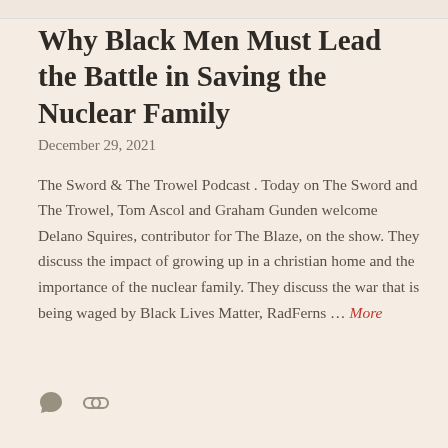Why Black Men Must Lead the Battle in Saving the Nuclear Family
December 29, 2021
The Sword & The Trowel Podcast . Today on The Sword and The Trowel, Tom Ascol and Graham Gunden welcome Delano Squires, contributor for The Blaze, on the show. They discuss the impact of growing up in a christian home and the importance of the nuclear family. They discuss the war that is being waged by Black Lives Matter, RadFerns … More